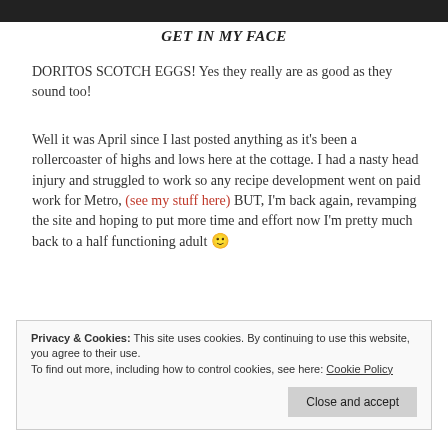[Figure (photo): Dark image bar at top of page, partially cropped]
GET IN MY FACE
DORITOS SCOTCH EGGS! Yes they really are as good as they sound too!
Well it was April since I last posted anything as it's been a rollercoaster of highs and lows here at the cottage. I had a nasty head injury and struggled to work so any recipe development went on paid work for Metro, (see my stuff here) BUT, I'm back again, revamping the site and hoping to put more time and effort now I'm pretty much back to a half functioning adult 🙂
Privacy & Cookies: This site uses cookies. By continuing to use this website, you agree to their use.
To find out more, including how to control cookies, see here: Cookie Policy
Close and accept